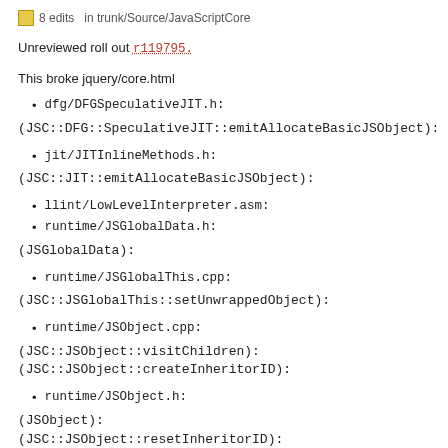8 edits  in trunk/Source/JavaScriptCore
Unreviewed roll out r119795.
This broke jquery/core.html
dfg/DFGSpeculativeJIT.h:
(JSC::DFG::SpeculativeJIT::emitAllocateBasicJSObject):
jit/JITInlineMethods.h:
(JSC::JIT::emitAllocateBasicJSObject):
llint/LowLevelInterpreter.asm:
runtime/JSGlobalData.h:
(JSGlobalData):
runtime/JSGlobalThis.cpp:
(JSC::JSGlobalThis::setUnwrappedObject):
runtime/JSObject.cpp:
(JSC::JSObject::visitChildren):
(JSC::JSObject::createInheritorID):
runtime/JSObject.h:
(JSObject):
(JSC::JSObject::resetInheritorID):